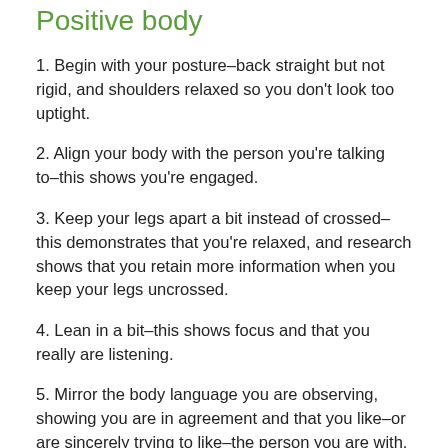Positive body
1. Begin with your posture–back straight but not rigid, and shoulders relaxed so you don't look too uptight.
2. Align your body with the person you're talking to–this shows you're engaged.
3. Keep your legs apart a bit instead of crossed–this demonstrates that you're relaxed, and research shows that you retain more information when you keep your legs uncrossed.
4. Lean in a bit–this shows focus and that you really are listening.
5. Mirror the body language you are observing, showing you are in agreement and that you like–or are sincerely trying to like–the person you are with.
Positive arms and hands